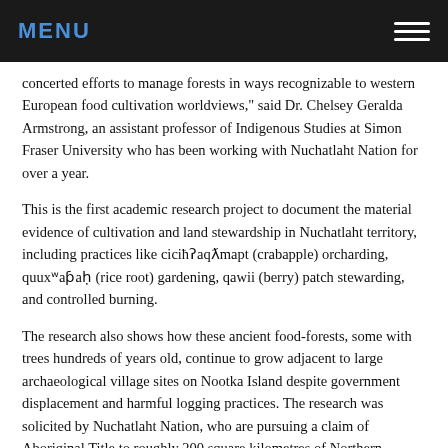MENU
concerted efforts to manage forests in ways recognizable to western European food cultivation worldviews," said Dr. Chelsey Geralda Armstrong, an assistant professor of Indigenous Studies at Simon Fraser University who has been working with Nuchatlaht Nation for over a year.
This is the first academic research project to document the material evidence of cultivation and land stewardship in Nuchatlaht territory, including practices like ciciħʔaqƛmapt (crabapple) orcharding, quuxʷaƥaḥ (rice root) gardening, qawii (berry) patch stewarding, and controlled burning.
The research also shows how these ancient food-forests, some with trees hundreds of years old, continue to grow adjacent to large archaeological village sites on Nootka Island despite government displacement and harmful logging practices. The research was solicited by Nuchatlaht Nation, who are pursuing a claim of Aboriginal Title to roughly 200 square kilometres of Northern Nootka Island. Their case is currently being heard in the B.C. Supreme Court.
"These forest gardens demonstrate how our laws were